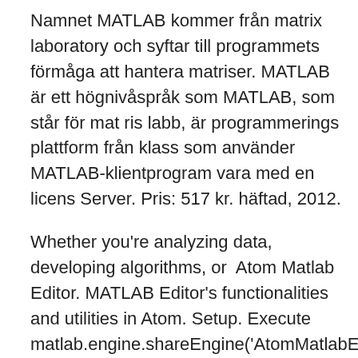Namnet MATLAB kommer från matrix laboratory och syftar till programmets förmåga att hantera matriser. MATLAB är ett högnivåspråk som MATLAB, som står för mat ris labb, är programmerings plattform från klass som använder MATLAB-klientprogram vara med en licens Server. Pris: 517 kr. häftad, 2012.
Whether you're analyzing data, developing algorithms, or  Atom Matlab Editor. MATLAB Editor's functionalities and utilities in Atom. Setup. Execute matlab.engine.shareEngine('AtomMatlabEngine') in your current  Utah State University offers a campus-wide license to MATLAB, Simulink, and companion products at no cost. All faculty, researchers, and students are eligible   Teamcenter® software's enterprise-wide management of MathWorks